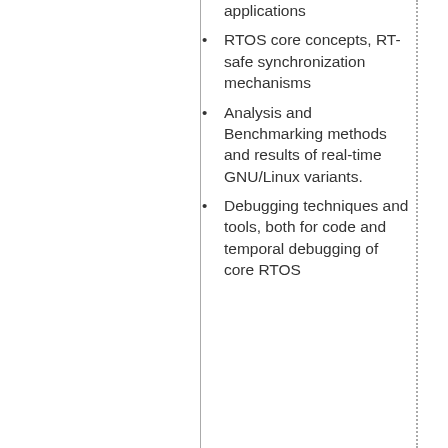applications
RTOS core concepts, RT-safe synchronization mechanisms
Analysis and Benchmarking methods and results of real-time GNU/Linux variants.
Debugging techniques and tools, both for code and temporal debugging of core RTOS